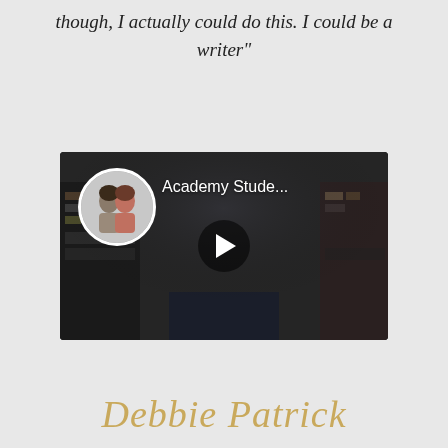though, I actually could do this. I could be a writer"
[Figure (screenshot): Video thumbnail showing 'Academy Stude...' with a circular avatar of two women and a play button, dark indoor scene background]
Debbie Patrick